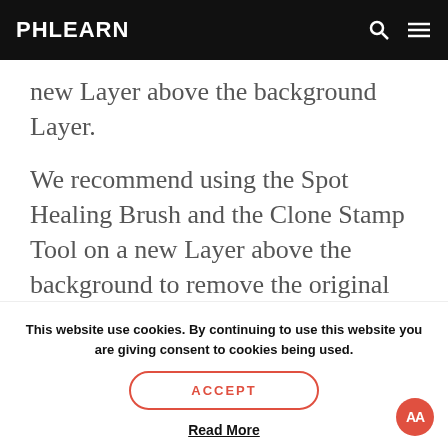PHLEARN
new Layer above the background Layer.
We recommend using the Spot Healing Brush and the Clone Stamp Tool on a new Layer above the background to remove the original object(s).
This website use cookies. By continuing to use this website you are giving consent to cookies being used.
ACCEPT
Read More